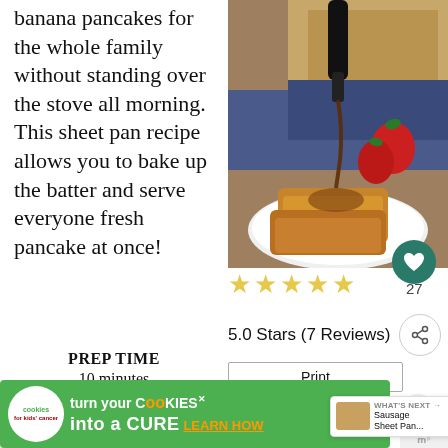banana pancakes for the whole family without standing over the stove all morning. This sheet pan recipe allows you to bake up the batter and serve everyone fresh pancake at once!
PREP TIME
10 minutes
[Figure (photo): Photo of sheet pan pancakes on a white plate with strawberries, syrup being poured from a bottle, and a baking pan in background]
27
5.0 Stars (7 Reviews)
Print
♡ Save
WHAT'S NEXT → Sausage Sheet Pan...
turn your COOKIES into a CURE LEARN HOW